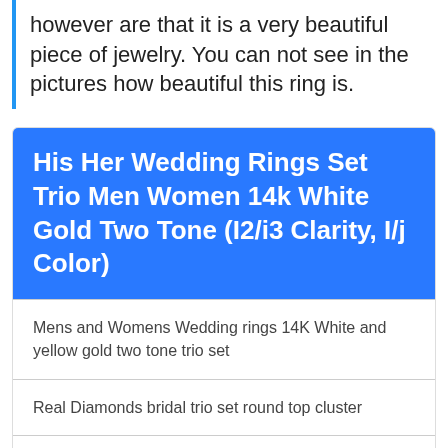however are that it is a very beautiful piece of jewelry. You can not see in the pictures how beautiful this ring is.
His Her Wedding Rings Set Trio Men Women 14k White Gold Two Tone (I2/i3 Clarity, I/j Color)
Mens and Womens Wedding rings 14K White and yellow gold two tone trio set
Real Diamonds bridal trio set round top cluster
Mens ring measures 6mm approx and womens rings are 10mm wide combined
Mens Wedding Band Size 10 and womens engagement ring Size 7